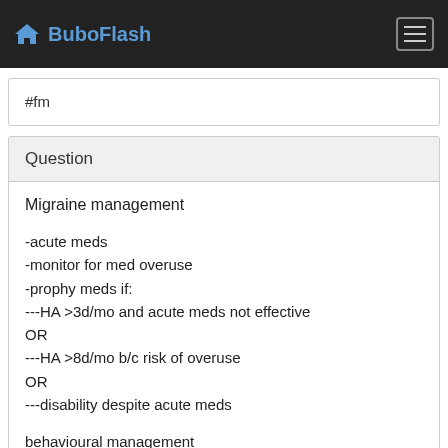BuboFlash
#fm
Question
Migraine management

-acute meds
-monitor for med overuse
-prophy meds if:
---HA >3d/mo and acute meds not effective
OR
---HA >8d/mo b/c risk of overuse
OR
---disability despite acute meds

behavioural management
-HA diary - freq, intensity, triggers, meds